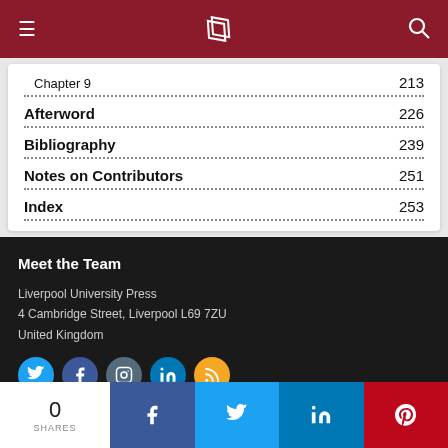Navigation bar with menu, logo, and search
Chapter 9 ... 213
Afterword ... 226
Bibliography ... 239
Notes on Contributors ... 251
Index ... 253
Meet the Team
Liverpool University Press
4 Cambridge Street, Liverpool L69 7ZU
United Kingdom
[Figure (infographic): Row of social media icon circles: Twitter (blue), Facebook (dark blue), Instagram (slate), LinkedIn (blue), RSS (orange)]
0 SHARES | Facebook | Twitter | LinkedIn | Pinterest